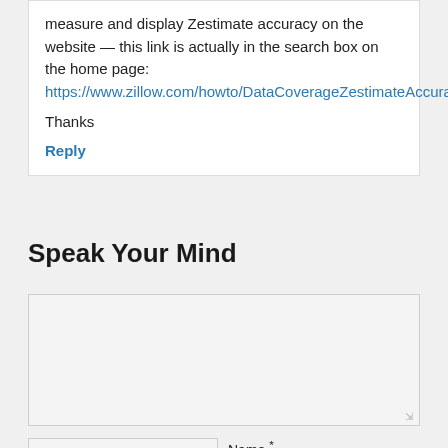measure and display Zestimate accuracy on the website — this link is actually in the search box on the home page: https://www.zillow.com/howto/DataCoverageZestimateAccuracy.htm
Thanks
Reply
Speak Your Mind
[comment textarea]
Name *